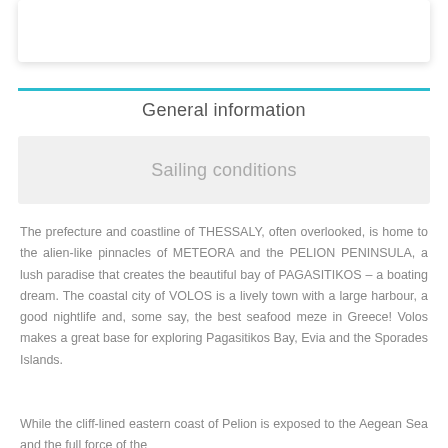[Figure (other): White card/panel at top of page with shadow]
General information
Sailing conditions
The prefecture and coastline of THESSALY, often overlooked, is home to the alien-like pinnacles of METEORA and the PELION PENINSULA, a lush paradise that creates the beautiful bay of PAGASITIKOS – a boating dream. The coastal city of VOLOS is a lively town with a large harbour, a good nightlife and, some say, the best seafood meze in Greece! Volos makes a great base for exploring Pagasitikos Bay, Evia and the Sporades Islands.
While the cliff-lined eastern coast of Pelion is exposed to the Aegean Sea and the full force of the